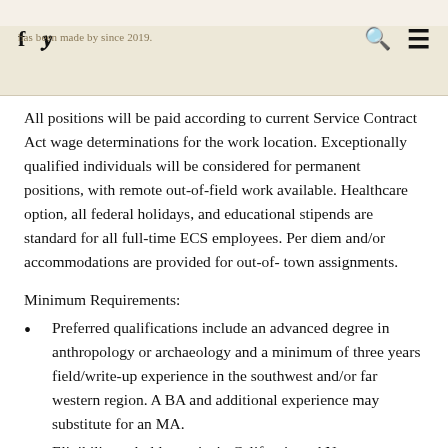has been made by since 2019.
All positions will be paid according to current Service Contract Act wage determinations for the work location. Exceptionally qualified individuals will be considered for permanent positions, with remote out-of-field work available. Healthcare option, all federal holidays, and educational stipends are standard for all full-time ECS employees. Per diem and/or accommodations are provided for out-of- town assignments.
Minimum Requirements:
Preferred qualifications include an advanced degree in anthropology or archaeology and a minimum of three years field/write-up experience in the southwest and/or far western region. A BA and additional experience may substitute for an MA.
Eligibility to hold permits in California and New